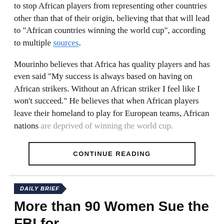to stop African players from representing other countries other than that of their origin, believing that that will lead to "African countries winning the world cup", according to multiple sources.
Mourinho believes that Africa has quality players and has even said "My success is always based on having on African strikers. Without an African striker I feel like I won't succeed." He believes that when African players leave their homeland to play for European teams, African nations are deprived of winning the world cup.
CONTINUE READING
DAILY BRIEF
More than 90 Women Sue the FBI for